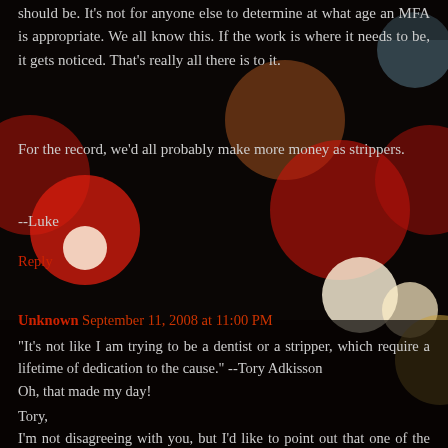should be. It's not for anyone else to determine at what age an MFA is appropriate. We all know this. If the work is where it needs to be, it gets noticed. That's really all there is to it.
For the record, we'd all probably make more money as strippers.
--Luke
Reply
Unknown September 11, 2008 at 11:00 PM
"It's not like I am trying to be a dentist or a stripper, which require a lifetime of dedication to the cause." --Tory Adkisson
Oh, that made my day!
Tory,
I'm not disagreeing with you, but I'd like to point out that one of the reasons I chose to take another year off is